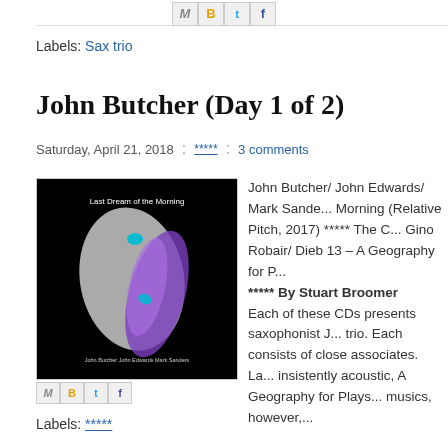[Figure (other): Social sharing icon buttons (M, B, t, f) at top center]
Labels: Sax trio
John Butcher (Day 1 of 2)
Saturday, April 21, 2018 : ***** : 3 comments
[Figure (photo): Album cover for 'Last Dream of the Morning' by John Butcher, John Edwards, Mark Sanders — dark background with abstract purple/white shapes]
John Butcher/ John Edwards/ Mark Sanders – Last Dream of the Morning (Relative Pitch, 2017) ***** The C... Gino Robair/ Dieb 13 – A Geography for P... ***** By Stuart Broomer Each of these CDs presents saxophonist J... trio. Each consists of close associates. La... insistently acoustic, A Geography for Plays... musics, however,...
[Figure (other): Social sharing icon buttons (M, B, t, f) at bottom left]
Labels: *****